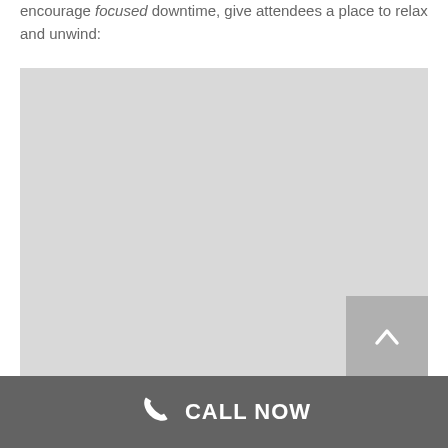encourage focused downtime, give attendees a place to relax and unwind:
[Figure (photo): Large light gray placeholder image representing a photo of a relaxation or downtime area]
CALL NOW